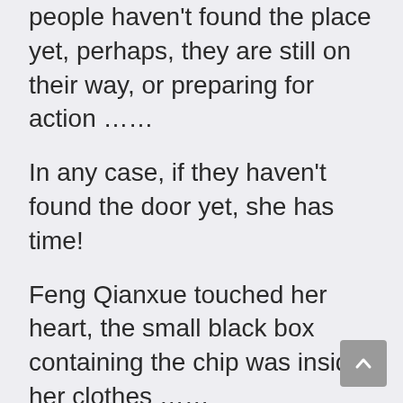people haven't found the place yet, perhaps, they are still on their way, or preparing for action ……
In any case, if they haven't found the door yet, she has time!
Feng Qianxue touched her heart, the small black box containing the chip was inside her clothes ……
Taking advantage of the fact that everyone was now in a meeting and the staff was waiting over at the conference room, there was not much outside, she had to return the chip as